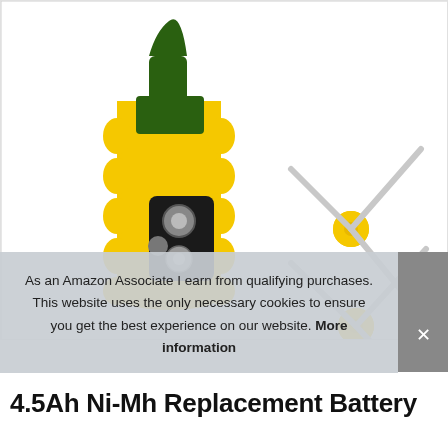[Figure (photo): Product photo showing a yellow NiMh replacement battery pack with green label/connector at the top and black connector port on the side, along with two yellow-hub side brush accessories with silver/white bristles, displayed against a white background with a light gray border.]
As an Amazon Associate I earn from qualifying purchases. This website uses the only necessary cookies to ensure you get the best experience on our website. More information
4.5Ah Ni-Mh Replacement Battery